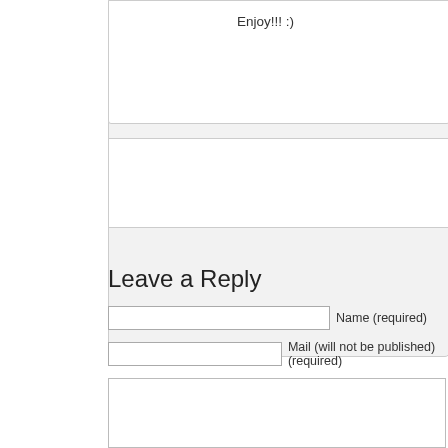Enjoy!!! :)
Leave a Reply
Name (required)
Mail (will not be published) (required)